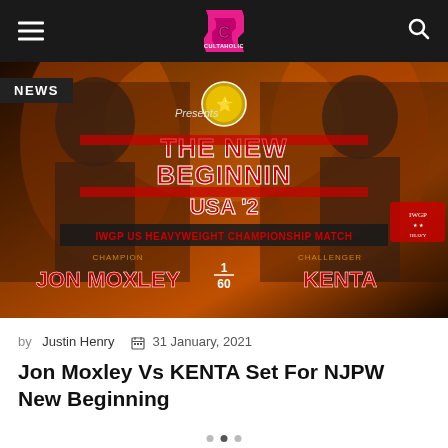Cultaholic
[Figure (photo): NJPW New Beginning USA promotional image showing Jon Moxley vs KENTA for the IWGP US Heavyweight Championship]
NEWS
by Justin Henry  31 January, 2021
Jon Moxley Vs KENTA Set For NJPW New Beginning